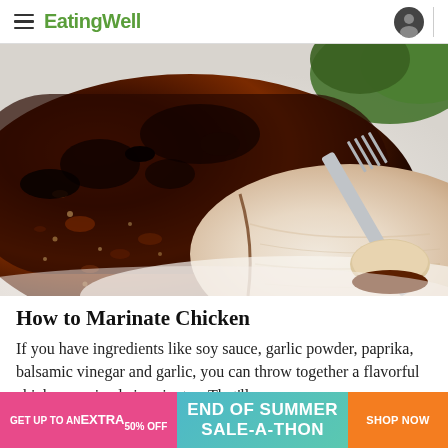EatingWell
[Figure (photo): Close-up photo of a spice-rubbed grilled chicken breast that has been sliced open, revealing juicy white interior meat. A fork is visible on the right side holding a piece of the chicken. The chicken has a dark, charred spice crust. A white plate is partially visible.]
How to Marinate Chicken
If you have ingredients like soy sauce, garlic powder, paprika, balsamic vinegar and garlic, you can throw together a flavorful chicken marinade in minutes. That'll you m...
[Figure (other): Advertisement banner: left section pink/magenta with text 'GET UP TO AN EXTRA 50% OFF', middle section teal gradient with text 'END OF SUMMER SALE-A-THON', right section orange with text 'SHOP NOW']